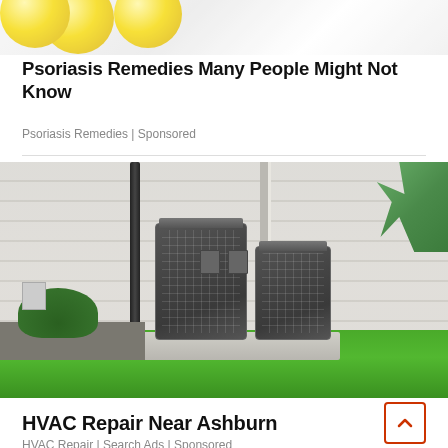[Figure (photo): Top portion of an advertisement image — lemons and white powder/sugar on a surface]
Psoriasis Remedies Many People Might Not Know
Psoriasis Remedies | Sponsored
[Figure (photo): Two outdoor HVAC air conditioning units installed on a concrete pad beside a white brick house with green lawn]
HVAC Repair Near Ashburn
HVAC Repair | Search Ads | Sponsored